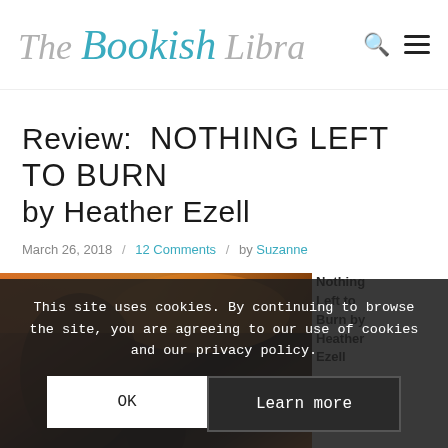The Bookish Libra
Review: NOTHING LEFT TO BURN by Heather Ezell
March 26, 2018 / 12 Comments / by Suzanne
[Figure (photo): Book cover photo for Nothing Left to Burn by Heather Ezell — dark fiery tones]
Nothing Left to Burn by Heather Ezell
This site uses cookies. By continuing to browse the site, you are agreeing to our use of cookies and our privacy policy.